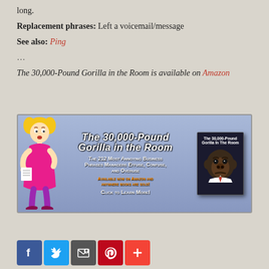long.
Replacement phrases: Left a voicemail/message
See also: Ping
…
The 30,000-Pound Gorilla in the Room is available on Amazon
[Figure (illustration): Book advertisement banner for 'The 30,000-Pound Gorilla in the Room' showing a cartoon woman on the left, title text in center, and book cover on the right. Text includes: The 212 Most Annoying Business Phrases Managers Effuse, Confuse, and Overuse. Available now on Amazon and anywhere books are sold! Click to learn more!]
[Figure (infographic): Social sharing buttons: Facebook (blue), Twitter (light blue), Email/share (gray), Pinterest (red), Plus/more (red)]